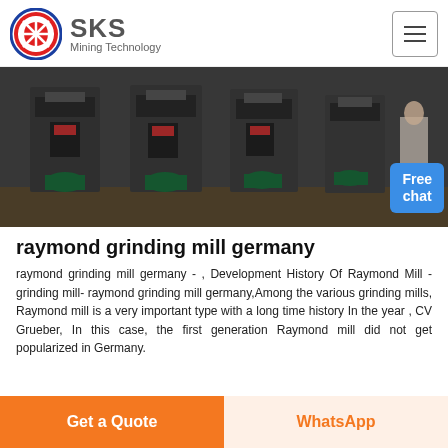SKS Mining Technology
[Figure (photo): Industrial grinding mill machines in a factory/warehouse setting, showing large dark-colored crushing/milling equipment with green electric motors. A person in white is visible at the right edge. A blue 'Free chat' badge is overlaid in the bottom right corner.]
raymond grinding mill germany
raymond grinding mill germany - , Development History Of Raymond Mill - grinding mill- raymond grinding mill germany,Among the various grinding mills, Raymond mill is a very important type with a long time history In the year , CV Grueber, In this case, the first generation Raymond mill did not get popularized in Germany.